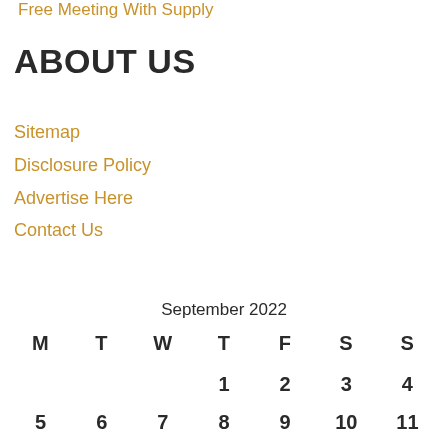Free Meeting With Supply
ABOUT US
Sitemap
Disclosure Policy
Advertise Here
Contact Us
| M | T | W | T | F | S | S |
| --- | --- | --- | --- | --- | --- | --- |
|  |  |  | 1 | 2 | 3 | 4 |
| 5 | 6 | 7 | 8 | 9 | 10 | 11 |